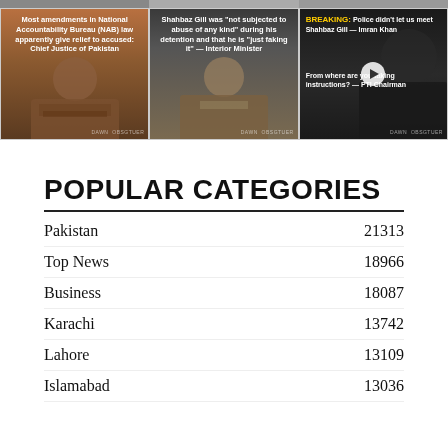[Figure (photo): Three news video thumbnail cards side by side. Card 1: text 'Most amendments in National Accountability Bureau (NAB) law apparently give relief to accused: Chief Justice of Pakistan' over photo of Chief Justice. Card 2: text 'Shahbaz Gill was "not subjected to abuse of any kind" during his detention and that he is "just faking it" — Interior Minister' over photo of Interior Minister. Card 3: BREAKING text 'Police didn't let us meet Shahbaz Gill — Imran Khan' and 'From where are you taking instructions? — PTI Chairman' with play button over photo of Imran Khan.]
POPULAR CATEGORIES
Pakistan    21313
Top News    18966
Business    18087
Karachi    13742
Lahore    13109
Islamabad    13036